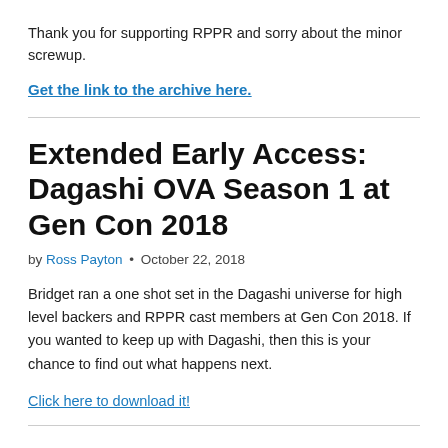Thank you for supporting RPPR and sorry about the minor screwup.
Get the link to the archive here.
Extended Early Access: Dagashi OVA Season 1 at Gen Con 2018
by Ross Payton • October 22, 2018
Bridget ran a one shot set in the Dagashi universe for high level backers and RPPR cast members at Gen Con 2018. If you wanted to keep up with Dagashi, then this is your chance to find out what happens next.
Click here to download it!